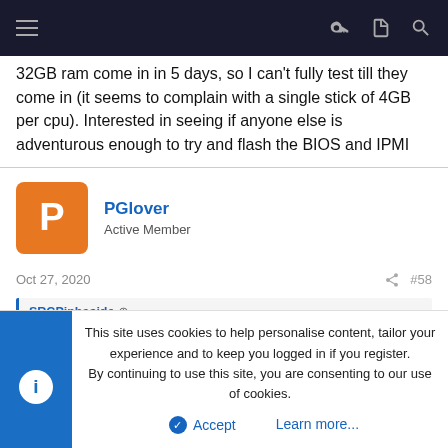Navigation bar with menu, key, document, and search icons
32GB ram come in in 5 days, so I can't fully test till they come in (it seems to complain with a single stick of 4GB per cpu). Interested in seeing if anyone else is adventurous enough to try and flash the BIOS and IPMI
PGlover
Active Member
Oct 27, 2020	#58
SRCPinhaside
This site uses cookies to help personalise content, tailor your experience and to keep you logged in if you register.
By continuing to use this site, you are consenting to our use of cookies.
Accept	Learn more...